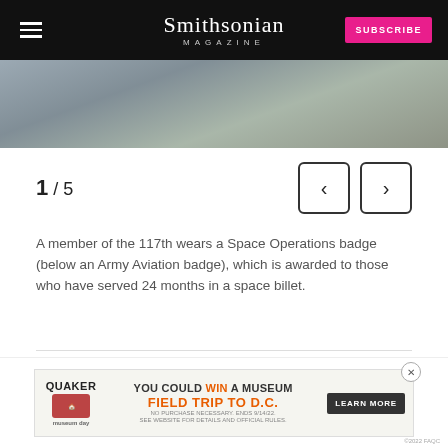Smithsonian Magazine | SUBSCRIBE
[Figure (photo): Close-up photo of military camouflage uniform fabric]
1 / 5
A member of the 117th wears a Space Operations badge (below an Army Aviation badge), which is awarded to those who have served 24 months in a space billet.
For two years, beginning in 2011, the U.S. Naval Criminal... building a case against a group of Somali pirates
[Figure (other): Quaker Museum Day advertisement banner: YOU COULD WIN A MUSEUM FIELD TRIP TO D.C. LEARN MORE]